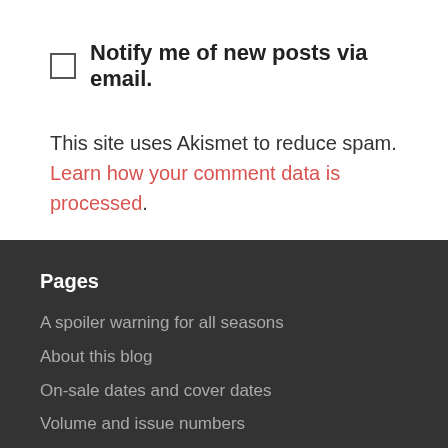Notify me of new posts via email.
This site uses Akismet to reduce spam. Learn how your comment data is processed.
Pages
A spoiler warning for all seasons
About this blog
On-sale dates and cover dates
Volume and issue numbers